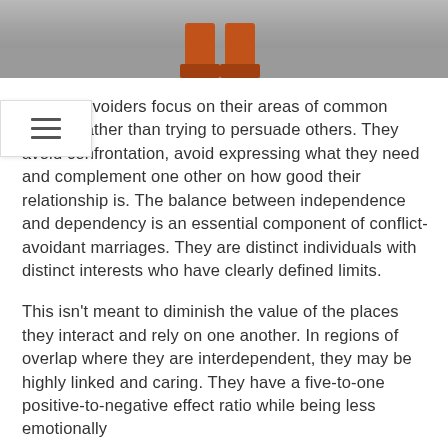[Figure (photo): Bottom portion of a person's legs wearing orange/rust-colored boots standing on a sandy or concrete surface]
Conflict avoiders focus on their areas of common ground rather than trying to persuade others. They avoid confrontation, avoid expressing what they need and complement one other on how good their relationship is. The balance between independence and dependency is an essential component of conflict-avoidant marriages. They are distinct individuals with distinct interests who have clearly defined limits.
This isn't meant to diminish the value of the places they interact and rely on one another. In regions of overlap where they are interdependent, they may be highly linked and caring. They have a five-to-one positive-to-negative effect ratio while being less emotionally